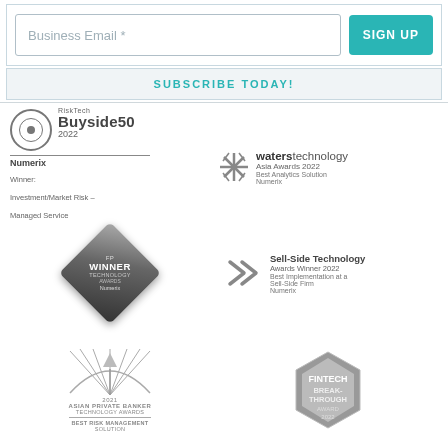Business Email *
SIGN UP
SUBSCRIBE TODAY!
[Figure (logo): RiskTech Buyside50 2022 - Numerix Winner: Investment/Market Risk – Managed Service]
[Figure (logo): waterstechnology Asia Awards 2022 – Best Analytics Solution – Numerix]
[Figure (logo): FP Winner Award badge – diamond shaped award for best risk management]
[Figure (logo): Sell-Side Technology Awards Winner 2022 – Best Implementation at a Sell-Side Firm – Numerix]
[Figure (logo): 2021 Asian Private Banker Technology Awards – Best Risk Management Solution]
[Figure (logo): Fintech Breakthrough Award 2022 – hexagonal award badge]